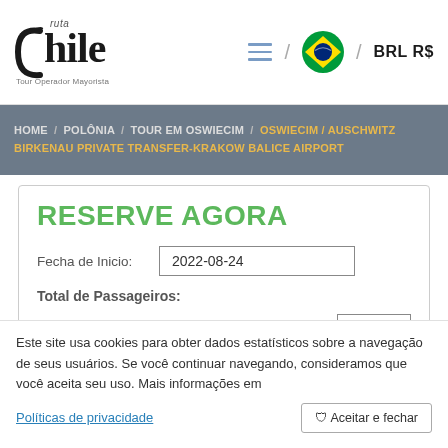ruta Chile Tour Operador Mayorista | BRL R$
HOME / POLÔNIA / TOUR EM OSWIECIM / OSWIECIM / AUSCHWITZ BIRKENAU PRIVATE TRANSFER-KRAKOW BALICE AIRPORT
RESERVE AGORA
Fecha de Inicio: 2022-08-24
Total de Passageiros:
Adults (1 a 99 anos) 2
Este site usa cookies para obter dados estatísticos sobre a navegação de seus usuários. Se você continuar navegando, consideramos que você aceita seu uso. Mais informações em
Políticas de privacidade
🛡 Aceitar e fechar